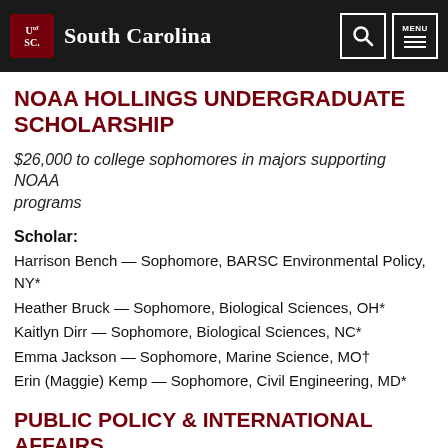University of South Carolina
NOAA HOLLINGS UNDERGRADUATE SCHOLARSHIP
$26,000 to college sophomores in majors supporting NOAA programs
Scholar:
Harrison Bench — Sophomore, BARSC Environmental Policy, NY*
Heather Bruck — Sophomore, Biological Sciences, OH*
Kaitlyn Dirr — Sophomore, Biological Sciences, NC*
Emma Jackson — Sophomore, Marine Science, MO†
Erin (Maggie) Kemp — Sophomore, Civil Engineering, MD*
PUBLIC POLICY & INTERNATIONAL AFFAIRS (PPIA) FELLOWSHIP PROGRAM